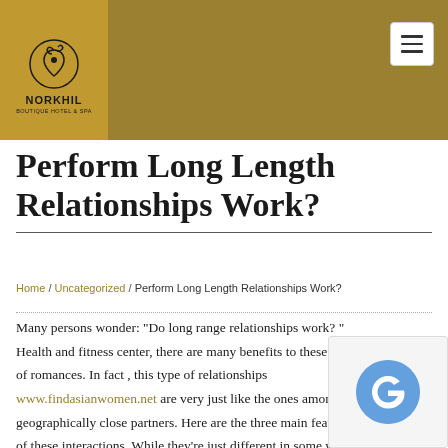[Figure (logo): Norkhil Boutique Hotel & Spa logo with decorative swirl icon on golden-brown background]
Perform Long Length Relationships Work?
Home / Uncategorized / Perform Long Length Relationships Work?
Many persons wonder: “Do long range relationships work? ” Health and fitness center, there are many benefits to these types of romances. In fact , this type of relationships www.findasianwomen.net are very just like the ones among geographically close partners. Here are the three main features of these interactions. While they’re just different in some ways, they are continue to very similar in their core valuations. Listed below are the huge benefits and disadvantages of LDRs. To really succeed, you to find out whether or not your relationship should survive the long range, a few here are some tips to assure you.